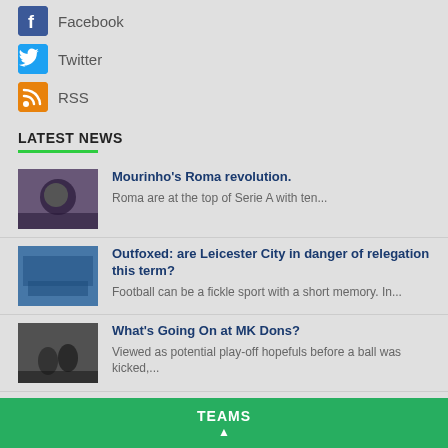Facebook
Twitter
RSS
LATEST NEWS
Mourinho's Roma revolution. Roma are at the top of Serie A with ten...
Outfoxed: are Leicester City in danger of relegation this term? Football can be a fickle sport with a short memory. In...
What's Going On at MK Dons? Viewed as potential play-off hopefuls before a ball was kicked,...
SUBSCRIBE
Enter your email to receive all the latest news articles
TEAMS